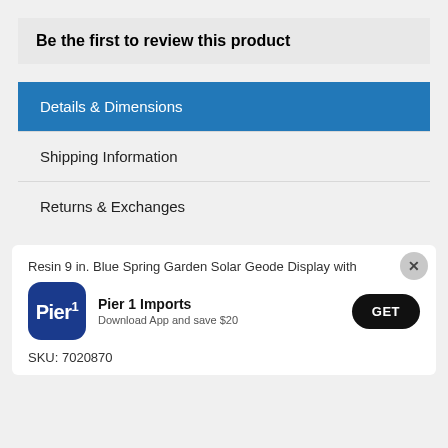Be the first to review this product
Details & Dimensions
Shipping Information
Returns & Exchanges
Resin 9 in. Blue Spring Garden Solar Geode Display with
Pier 1 Imports
Download App and save $20
GET
SKU: 7020870